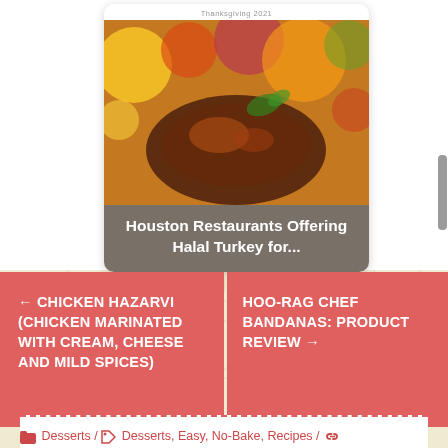[Figure (photo): Food blog article card showing 'Houston Restaurants Offering Halal Turkey for...' with a colorful bokeh-lit roasted turkey/chicken image]
Desserts / Desserts, Easy, No-Bake, Recipes / permalink
← CHICKEN HAZARVI (CHICKEN MARINATED WITH CREAM, CHEESE AND MILD SPICES)
HOO-RAG CHEF BANDANAS: PRODUCT REVIEW →